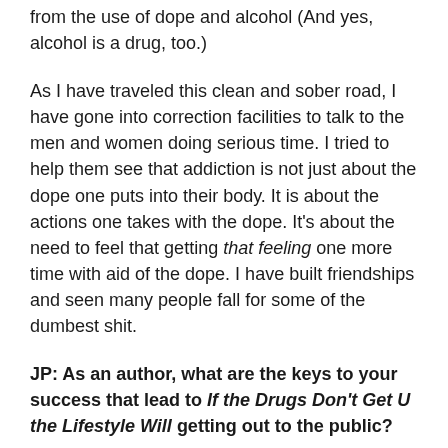from the use of dope and alcohol (And yes, alcohol is a drug, too.)
As I have traveled this clean and sober road, I have gone into correction facilities to talk to the men and women doing serious time. I tried to help them see that addiction is not just about the dope one puts into their body. It is about the actions one takes with the dope. It’s about the need to feel that getting that feeling one more time with aid of the dope. I have built friendships and seen many people fall for some of the dumbest shit.
JP: As an author, what are the keys to your success that lead to If the Drugs Don’t Get U the Lifestyle Will getting out to the public?
RF: I never stop asking questions or asking for help with the things I do not know how to do. I’m on a life journey of learning everything I can, even at age 56. My no-down-time law helped